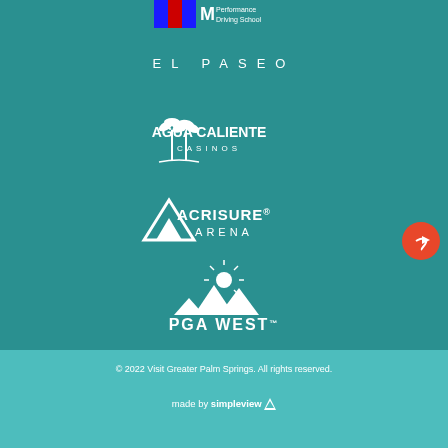[Figure (logo): BMW M Performance Driving School logo at top center]
[Figure (logo): EL PASEO text logo in white spaced letters]
[Figure (logo): Agua Caliente Casinos logo with palm trees icon]
[Figure (logo): Acrisure Arena logo with mountain/triangle icon]
[Figure (logo): PGA WEST logo with mountain and sun icon]
© 2022 Visit Greater Palm Springs. All rights reserved.
made by simpleview